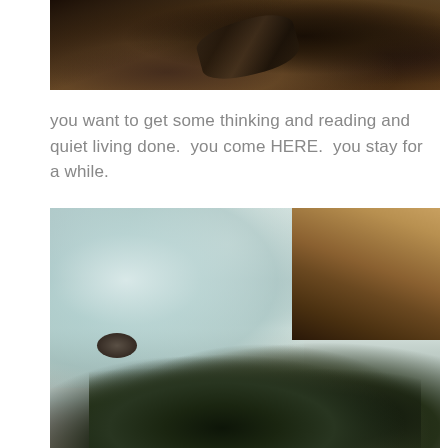[Figure (photo): Close-up photograph of driftwood log resting on dark earth and pine needles, dark brown tones]
you want to get some thinking and reading and quiet living done.  you come HERE.  you stay for a while.
[Figure (photo): Coastal scene with calm water reflecting light, rocky cliffs on the right, dark evergreen tree branches sweeping across the foreground, a rock partially submerged in the water]